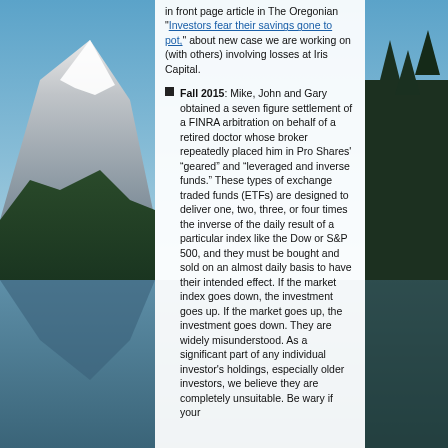in front page article in The Oregonian "Investors fear their savings gone to pot," about new case we are working on (with others) involving losses at Iris Capital.
Fall 2015: Mike, John and Gary obtained a seven figure settlement of a FINRA arbitration on behalf of a retired doctor whose broker repeatedly placed him in Pro Shares' “geared” and “leveraged and inverse funds.” These types of exchange traded funds (ETFs) are designed to deliver one, two, three, or four times the inverse of the daily result of a particular index like the Dow or S&P 500, and they must be bought and sold on an almost daily basis to have their intended effect. If the market index goes down, the investment goes up. If the market goes up, the investment goes down. They are widely misunderstood. As a significant part of any individual investor's holdings, especially older investors, we believe they are completely unsuitable. Be wary if your